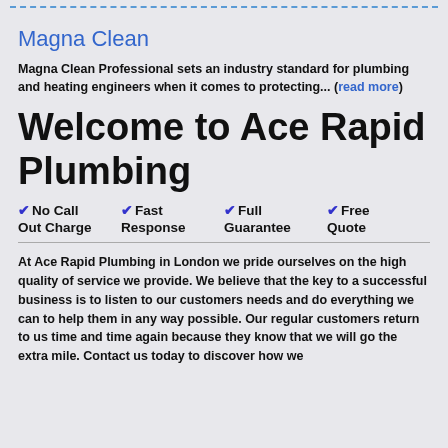Magna Clean
Magna Clean Professional sets an industry standard for plumbing and heating engineers when it comes to protecting... (read more)
Welcome to Ace Rapid Plumbing
✔ No Call Out Charge
✔ Fast Response
✔ Full Guarantee
✔ Free Quote
At Ace Rapid Plumbing in London we pride ourselves on the high quality of service we provide. We believe that the key to a successful business is to listen to our customers needs and do everything we can to help them in any way possible. Our regular customers return to us time and time again because they know that we will go the extra mile. Contact us today to discover how we